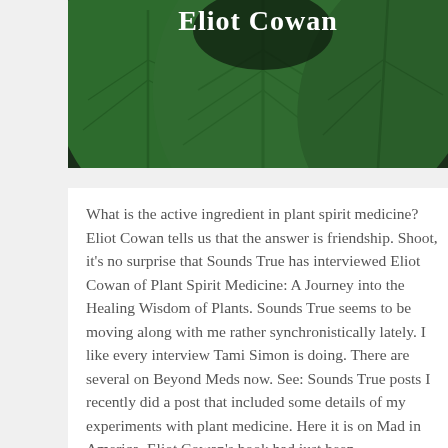[Figure (photo): Large green tropical leaves with dark background. Bold white serif text overlay reads 'Eliot Cowan'.]
What is the active ingredient in plant spirit medicine? Eliot Cowan tells us that the answer is friendship. Shoot, it's no surprise that Sounds True has interviewed Eliot Cowan of Plant Spirit Medicine: A Journey into the Healing Wisdom of Plants. Sounds True seems to be moving along with me rather synchronistically lately. I like every interview Tami Simon is doing. There are several on Beyond Meds now. See: Sounds True posts I recently did a post that included some details of my experiments with plant medicine. Here it is on Mad in America. Eliot Cowan's book had just been recommended to me by a friend and so I had also recommended it in that post. I've not bought it or read it yet. Clearly, I need to. … [click on title for the